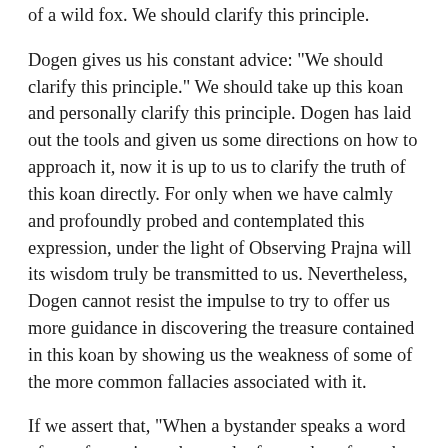of a wild fox. We should clarify this principle.
Dogen gives us his constant advice: "We should clarify this principle." We should take up this koan and personally clarify this principle. Dogen has laid out the tools and given us some directions on how to approach it, now it is up to us to clarify the truth of this koan directly. For only when we have calmly and profoundly probed and contemplated this expression, under the light of Observing Prajna will its wisdom truly be transmitted to us. Nevertheless, Dogen cannot resist the impulse to try to offer us more guidance in discovering the treasure contained in this koan by showing us the weakness of some of the more common fallacies associated with it.
If we assert that, "When a bystander speaks a word of transformation, a bystander frees others from the body of a wild fox," then the mountains, the rivers, and the Earth have been speaking countless words of transformation since the past, and those many words of transformation have been repeated again and again. But in the past [the old man] has not got free of the body of a wild fox. He gets free of the